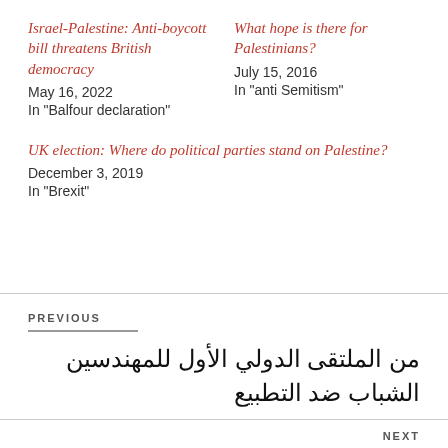Israel-Palestine: Anti-boycott bill threatens British democracy
May 16, 2022
In "Balfour declaration"
What hope is there for Palestinians?
July 15, 2016
In "anti Semitism"
UK election: Where do political parties stand on Palestine?
December 3, 2019
In "Brexit"
PREVIOUS
من الملتقى الدولي الأول للمهندسين الشباب ضد التطبيع
NEXT
غزل متبادل بين نتنياهو وبن زايد يكشف عن تطبيع وشيك